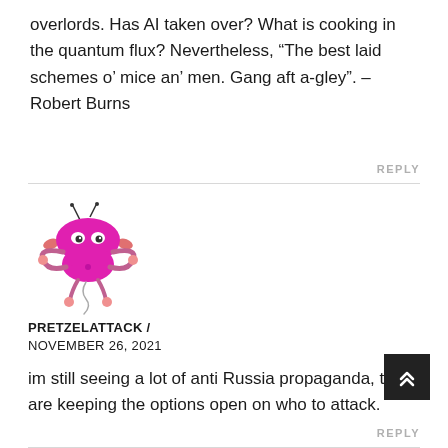overlords. Has AI taken over? What is cooking in the quantum flux? Nevertheless, “The best laid schemes o’ mice an’ men. Gang aft a-gley”. – Robert Burns
REPLY
[Figure (illustration): Cartoon illustration of a pink pretzel-like creature with antennae, arms, and legs on a white background]
PRETZELATTACK / NOVEMBER 26, 2021
im still seeing a lot of anti Russia propaganda, they are keeping the options open on who to attack.
REPLY